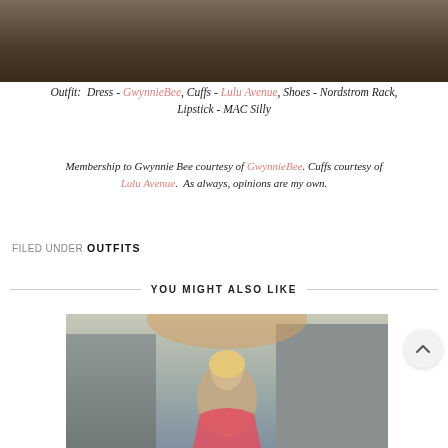[Figure (photo): Close-up photo of shoes on a wooden floor]
Outfit: Dress - GwynnieBee, Cuffs - Lulu Avenue, Shoes - Nordstrom Rack, Lipstick - MAC Silly
Membership to Gwynnie Bee courtesy of GwynnieBee. Cuffs courtesy of Lulu Avenue. As always, opinions are my own.
FILED UNDER OUTFITS
YOU MIGHT ALSO LIKE
[Figure (photo): Woman with blonde hair standing outdoors near a building]